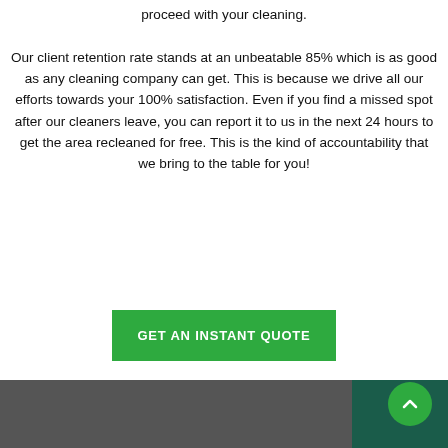proceed with your cleaning. Our client retention rate stands at an unbeatable 85% which is as good as any cleaning company can get. This is because we drive all our efforts towards your 100% satisfaction. Even if you find a missed spot after our cleaners leave, you can report it to us in the next 24 hours to get the area recleaned for free. This is the kind of accountability that we bring to the table for you!
[Figure (other): Green button labeled GET AN INSTANT QUOTE]